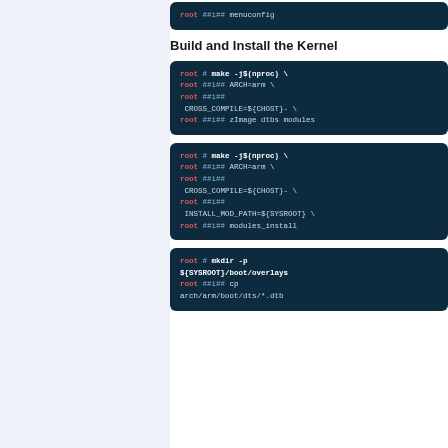[Figure (screenshot): Code block showing: root ##i## menuconfig]
Build and Install the Kernel
[Figure (screenshot): Code block showing: root # make -j$(nproc) \ root ##i## ARCH=arm \ root ##i## CROSS_COMPILE=${CHOST}- \ root ##i## zImage dtbs modules]
[Figure (screenshot): Code block showing: root # make -j$(nproc) \ root ##i## ARCH=arm \ root ##i## CROSS_COMPILE=${CHOST}- \ root ##i## INSTALL_MOD_PATH=${SYSROOT} \ root ##i## modules_install]
[Figure (screenshot): Code block showing: root # mkdir -p ${SYSROOT}/boot/overlays root ##i## cp arch/arm/boot/dts/*.dtb]